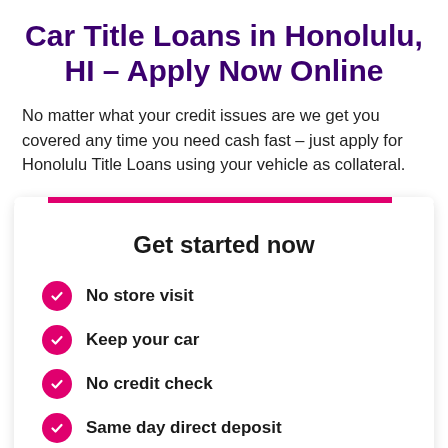Car Title Loans in Honolulu, HI – Apply Now Online
No matter what your credit issues are we get you covered any time you need cash fast – just apply for Honolulu Title Loans using your vehicle as collateral.
Get started now
No store visit
Keep your car
No credit check
Same day direct deposit